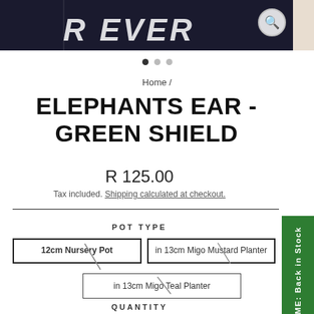[Figure (photo): Hero banner image showing partial text 'R EVER' on dark background with a hand visible on the right side]
Home /
ELEPHANTS EAR - GREEN SHIELD
R 125.00
Tax included. Shipping calculated at checkout.
POT TYPE
12cm Nursery Pot
in 13cm Migo Mustard Planter
in 13cm Migo Teal Planter
QUANTITY